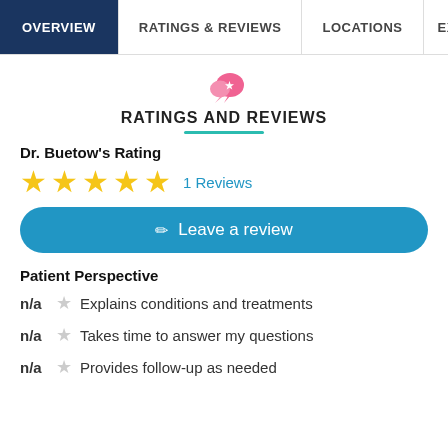OVERVIEW | RATINGS & REVIEWS | LOCATIONS | EX
RATINGS AND REVIEWS
Dr. Buetow's Rating
★★★★★ 1 Reviews
Leave a review
Patient Perspective
n/a ☆ Explains conditions and treatments
n/a ☆ Takes time to answer my questions
n/a ☆ Provides follow-up as needed